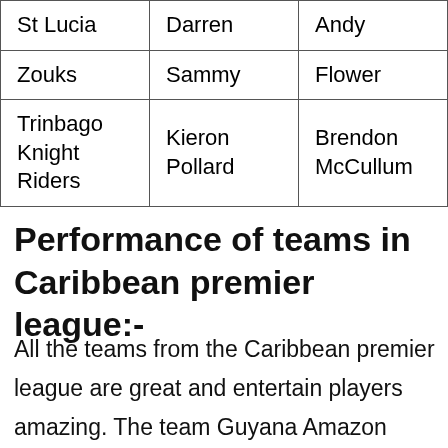| St Lucia | Darren | Andy |
| Zouks | Sammy | Flower |
| Trinbago
Knight Riders | Kieron
Pollard | Brendon
McCullum |
Performance of teams in Caribbean premier league:-
All the teams from the Caribbean premier league are great and entertain players amazing. The team Guyana Amazon Warriors is a team similar to the Chennai Super Kings of